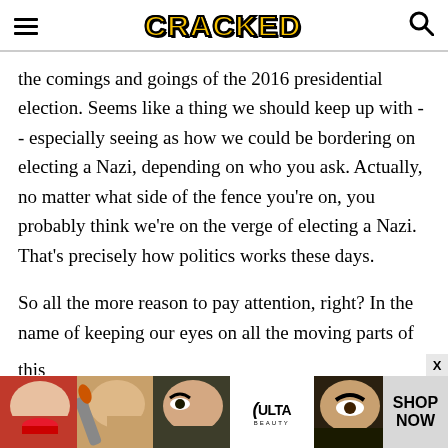CRACKED
the comings and goings of the 2016 presidential election. Seems like a thing we should keep up with -- especially seeing as how we could be bordering on electing a Nazi, depending on who you ask. Actually, no matter what side of the fence you're on, you probably think we're on the verge of electing a Nazi. That's precisely how politics works these days.

So all the more reason to pay attention, right? In the name of keeping our eyes on all the moving parts of this...
[Figure (advertisement): Ulta Beauty advertisement banner with makeup/beauty images and SHOP NOW call to action]